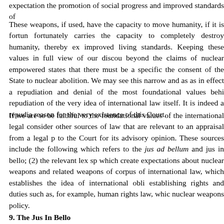expectation the promotion of social progress and improved standards of
These weapons, if used, have the capacity to move humanity, if it is fortunately carries the capacity to completely destroy humanity, thereby ex improved living standards. Keeping these values in full view of our discou beyond the claims of nuclear empowered states that there must be a specific the consent of the State to nuclear abolition. We may see this narrow and as as in effect a repudiation and denial of the most foundational values behi repudiation of the very idea of international law itself. It is indeed a repudia reason for the very existence of this Court.
If we are to be faithful to the foundational values of the international legal consider other sources of law that are relevant to an appraisal from a legal p to the Court for its advisory opinion. These sources include the following which refers to the jus ad bellum and jus in bello; (2) the relevant lex sp which create expectations about nuclear weapons and related weapons of corpus of international law, which establishes the idea of international obli establishing rights and duties such as, for example, human rights law, whic nuclear weapons policy.
9. The Jus In Bello